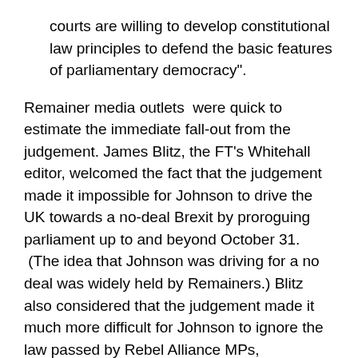courts are willing to develop constitutional law principles to defend the basic features of parliamentary democracy".
Remainer media outlets  were quick to estimate the immediate fall-out from the judgement. James Blitz, the FT's Whitehall editor, welcomed the fact that the judgement made it impossible for Johnson to drive the UK towards a no-deal Brexit by proroguing parliament up to and beyond October 31.  (The idea that Johnson was driving for a no deal was widely held by Remainers.) Blitz also considered that the judgement made it much more difficult for Johnson to ignore the law passed by Rebel Alliance MPs, demanding an Article 50 extension if a deal could not be agreed at the EU summit, (see September 2 and 3 above in timetable) earmarked for October 17. More dubiously, it was suggested that the judgement made it